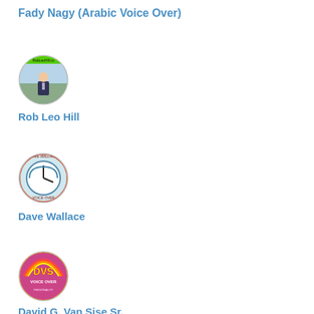Fady Nagy (Arabic Voice Over)
[Figure (photo): Circular avatar photo of Rob Leo Hill showing a person in a suit outdoors with a website banner overlay reading RobLeoHill.co]
Rob Leo Hill
[Figure (logo): Circular logo for Dave Wallace with a clock/audio wave design and text reading DAVE WALLACE VOICEOVER]
Dave Wallace
[Figure (logo): Circular colorful logo reading DVS David Van Sise Voice Over]
David G. Van Sise Sr.